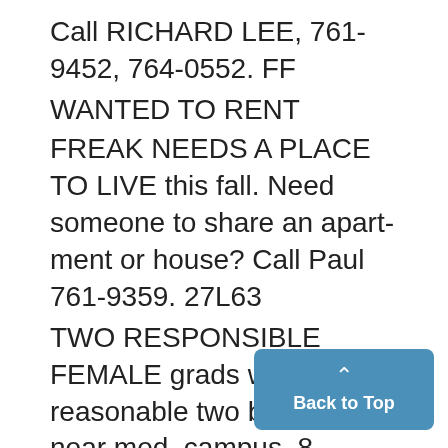Call RICHARD LEE, 761-9452, 764-0552. FF
WANTED TO RENT
FREAK NEEDS A PLACE TO LIVE this fall. Need someone to share an apartment or house? Call Paul 761-9359. 27L63
TWO RESPONSIBLE FEMALE grads want reasonable two bdrm. apt. near med. campus. 8-month lease for Fall, 665-0423. 25L59
LOOKING FOR 2-man apt. and roommate for fall. Linda. 769-7511. 2
HELP YOUR Neighbor. If you ar